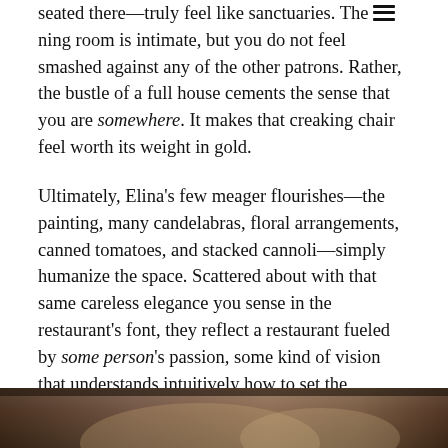seated there—truly feel like sanctuaries. The dining room is intimate, but you do not feel smashed against any of the other patrons. Rather, the bustle of a full house cements the sense that you are somewhere. It makes that creaking chair feel worth its weight in gold.
Ultimately, Elina's few meager flourishes—the painting, many candelabras, floral arrangements, canned tomatoes, and stacked cannoli—simply humanize the space. Scattered about with that same careless elegance you sense in the restaurant's font, they reflect a restaurant fueled by some person's passion, some kind of vision that understands intuitively how to set the experience's tone. Such fragmented design elements are easy to underestimate, but the whole effect lends the space that desired intimacy.
[Figure (photo): Bottom strip of a photograph showing dark warm tones, partially visible image of a scene at the bottom of the page]